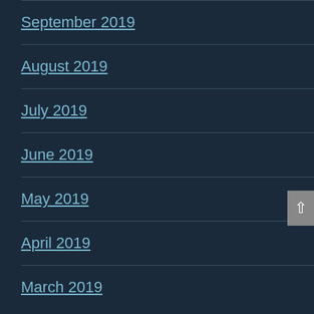September 2019
August 2019
July 2019
June 2019
May 2019
April 2019
March 2019